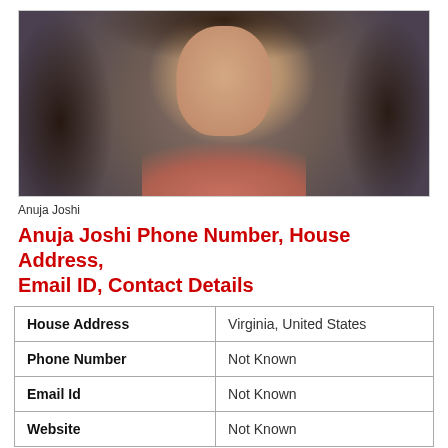[Figure (photo): Portrait photo of Anuja Joshi, a woman with long dark hair, wearing a salmon/pink jacket, against a grey background.]
Anuja Joshi
Anuja Joshi Phone Number, House Address, Email ID, Contact Details
| House Address | Virginia, United States |
| Phone Number | Not Known |
| Email Id | Not Known |
| Website | Not Known |